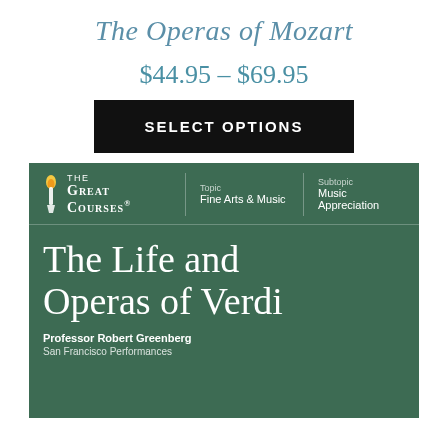The Operas of Mozart
$44.95 – $69.95
SELECT OPTIONS
[Figure (illustration): The Great Courses product cover for 'The Life and Operas of Verdi' by Professor Robert Greenberg, San Francisco Performances. Green background with torch logo, topic Fine Arts & Music, subtopic Music Appreciation.]